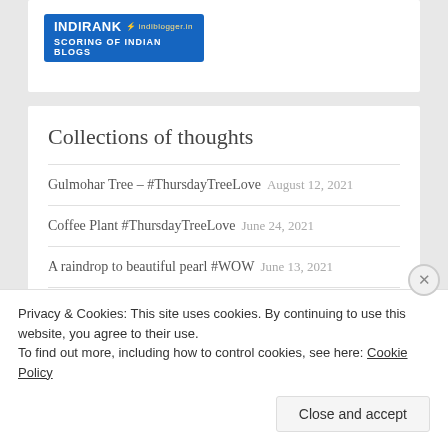[Figure (logo): IndiBlogger IndiBlogger.in IndIRANK scoring of Indian blogs badge on blue background]
Collections of thoughts
Gulmohar Tree – #ThursdayTreeLove August 12, 2021
Coffee Plant #ThursdayTreeLove June 24, 2021
A raindrop to beautiful pearl #WOW June 13, 2021
Privacy & Cookies: This site uses cookies. By continuing to use this website, you agree to their use.
To find out more, including how to control cookies, see here: Cookie Policy
Close and accept